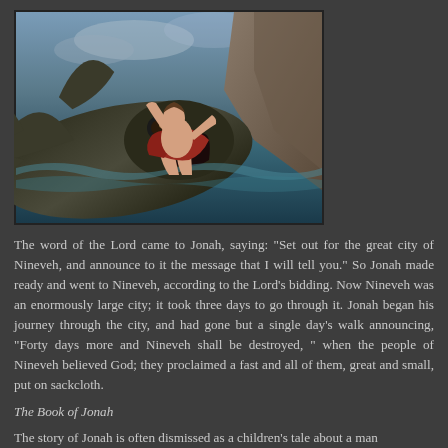[Figure (illustration): Painting depicting the biblical story of Jonah being swallowed by a large fish/whale. A man in red drapery is shown being engulfed by a large dark fish, with rocky cliffs in the background and turbulent water.]
The word of the Lord came to Jonah, saying: "Set out for the great city of Nineveh, and announce to it the message that I will tell you." So Jonah made ready and went to Nineveh, according to the Lord's bidding. Now Nineveh was an enormously large city; it took three days to go through it. Jonah began his journey through the city, and had gone but a single day's walk announcing, "Forty days more and Nineveh shall be destroyed, " when the people of Nineveh believed God; they proclaimed a fast and all of them, great and small, put on sackcloth.
The Book of Jonah
The story of Jonah is often dismissed as a children's tale about a man